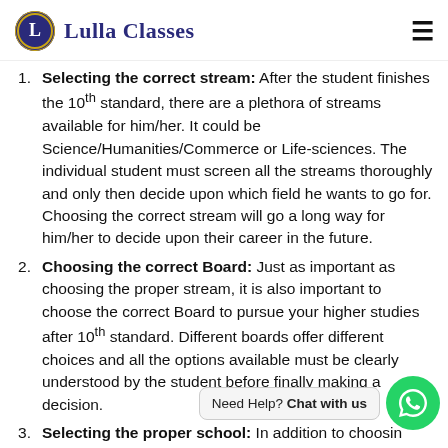Lulla Classes
Selecting the correct stream: After the student finishes the 10th standard, there are a plethora of streams available for him/her. It could be Science/Humanities/Commerce or Life-sciences. The individual student must screen all the streams thoroughly and only then decide upon which field he wants to go for. Choosing the correct stream will go a long way for him/her to decide upon their career in the future.
Choosing the correct Board: Just as important as choosing the proper stream, it is also important to choose the correct Board to pursue your higher studies after 10th standard. Different boards offer different choices and all the options available must be clearly understood by the student before finally making a decision.
Selecting the proper school: In addition to choosing correct stream/Board, it i... le... admission in a good school offering excellent post-10th